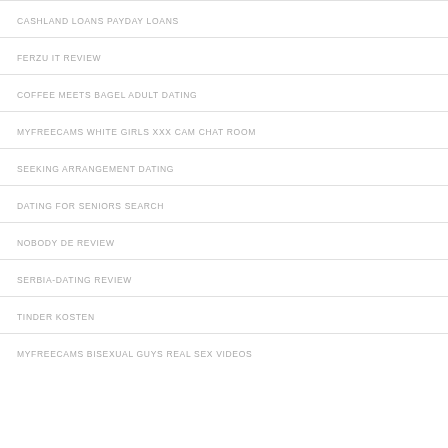CASHLAND LOANS PAYDAY LOANS
FERZU IT REVIEW
COFFEE MEETS BAGEL ADULT DATING
MYFREECAMS WHITE GIRLS XXX CAM CHAT ROOM
SEEKING ARRANGEMENT DATING
DATING FOR SENIORS SEARCH
NOBODY DE REVIEW
SERBIA-DATING REVIEW
TINDER KOSTEN
MYFREECAMS BISEXUAL GUYS REAL SEX VIDEOS